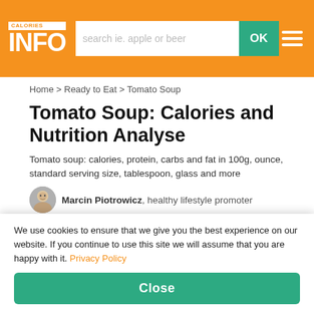CALORIES INFO — search ie. apple or beer — OK
Home > Ready to Eat > Tomato Soup
Tomato Soup: Calories and Nutrition Analyse
Tomato soup: calories, protein, carbs and fat in 100g, ounce, standard serving size, tablespoon, glass and more
Marcin Piotrowicz, healthy lifestyle promoter
How many calories in tomato soup?
[Figure (photo): Photo of tomato soup in a bowl with a green herb garnish on a light blue background]
We use cookies to ensure that we give you the best experience on our website. If you continue to use this site we will assume that you are happy with it. Privacy Policy
Close